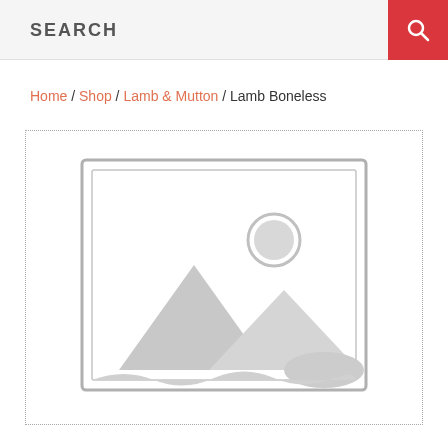SEARCH
Home / Shop / Lamb & Mutton / Lamb Boneless
[Figure (illustration): Product placeholder image: a grey outlined square icon with a landscape image placeholder (mountain and sun silhouette), displayed inside a dotted-border product box.]